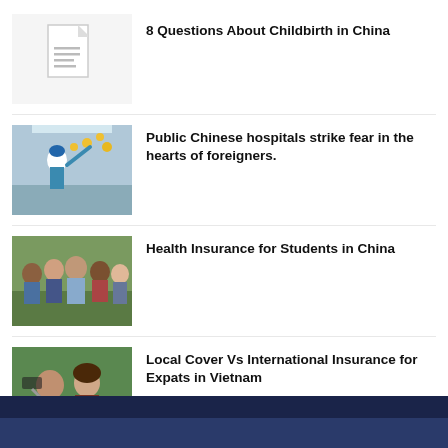[Figure (illustration): Document/file icon on light grey background]
8 Questions About Childbirth in China
[Figure (photo): Hospital worker in blue cap reaching up among yellow decorations in a public Chinese hospital]
Public Chinese hospitals strike fear in the hearts of foreigners.
[Figure (photo): Group of smiling diverse students outdoors]
Health Insurance for Students in China
[Figure (photo): Two women taking a selfie outdoors in a green field]
Local Cover Vs International Insurance for Expats in Vietnam